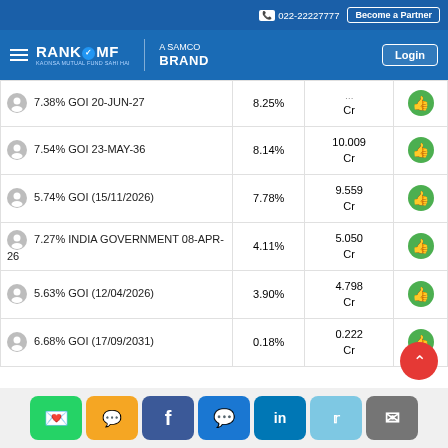022-22227777 | Become a Partner
[Figure (logo): RankMF - A Samco Brand logo with hamburger menu and Login button]
| Security | Weight | Value (Cr) | Action |
| --- | --- | --- | --- |
| 7.38% GOI 20-JUN-27 | 8.25% | Cr | 👍 |
| 7.54% GOI 23-MAY-36 | 8.14% | 10.009 Cr | 👍 |
| 5.74% GOI (15/11/2026) | 7.78% | 9.559 Cr | 👍 |
| 7.27% INDIA GOVERNMENT 08-APR-26 | 4.11% | 5.050 Cr | 👍 |
| 5.63% GOI (12/04/2026) | 3.90% | 4.798 Cr | 👍 |
| 6.68% GOI (17/09/2031) | 0.18% | 0.222 Cr | 👍 |
WhatsApp | SMS | Facebook | Messenger | LinkedIn | Twitter | Email